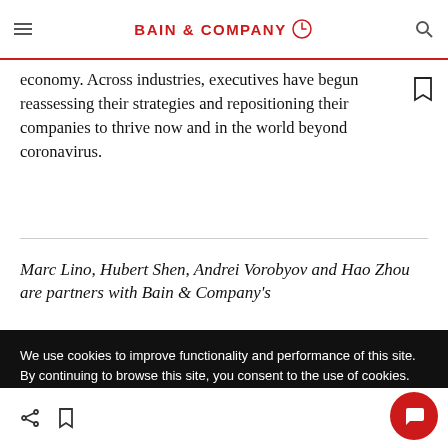BAIN & COMPANY
economy. Across industries, executives have begun reassessing their strategies and repositioning their companies to thrive now and in the world beyond coronavirus.
Marc Lino, Hubert Shen, Andrei Vorobyov and Hao Zhou are partners with Bain & Company's
We use cookies to improve functionality and performance of this site. By continuing to browse this site, you consent to the use of cookies.
ACCEPT ALL COOKIES